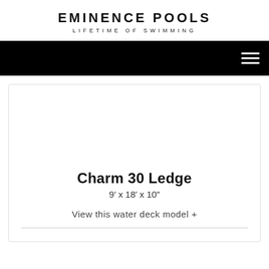EMINENCE POOLS
LIFETIME OF SWIMMING
[Figure (screenshot): Black navigation bar with white hamburger menu icon on the right]
Charm 30 Ledge
9′ x 18′ x 10″
View this water deck model +